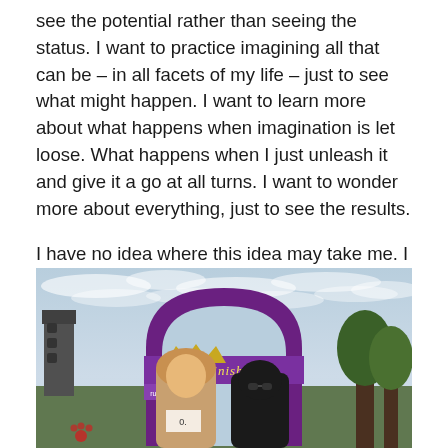see the potential rather than seeing the status.  I want to practice imagining all that can be – in all facets of my life – just to see what might happen.  I want to learn more about what happens when imagination is let loose.  What happens when I just unleash it and give it a go at all turns. I want to wonder more about everything, just to see the results.
I have no idea where this idea may take me.  I can only imagine.
[Figure (photo): Two people posing in front of a purple finish line arch at an outdoor running event (likely a runDisney race). One person wears a gold crown. Trees and a speaker tower are visible in the background against a cloudy sky.]